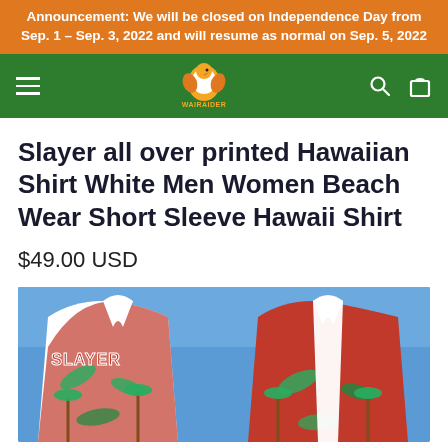Announcement: We will be closed on Independence Day from Sep. 1 – Sep. 3, 2022 and will resume as normal on Sep. 5, 2022
[Figure (logo): WaiRaider website navigation bar with hamburger menu, WaiRaider logo (bird mascot), search and cart icons on green background]
Slayer all over printed Hawaiian Shirt White Men Women Beach Wear Short Sleeve Hawaii Shirt
$49.00 USD
[Figure (photo): Product photo showing two Slayer Hawaiian shirts displayed on a blue background: one showing the back with SLAYER text and tropical Hawaiian print in red, one showing the front collar in white.]